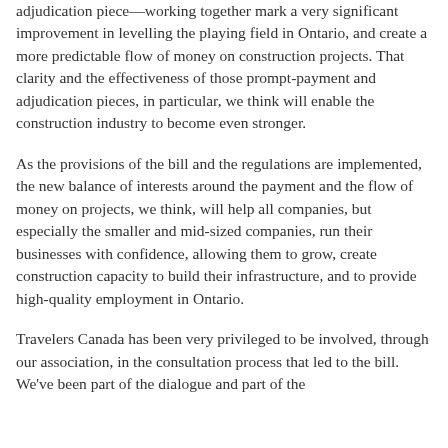adjudication piece—working together mark a very significant improvement in levelling the playing field in Ontario, and create a more predictable flow of money on construction projects. That clarity and the effectiveness of those prompt-payment and adjudication pieces, in particular, we think will enable the construction industry to become even stronger.
As the provisions of the bill and the regulations are implemented, the new balance of interests around the payment and the flow of money on projects, we think, will help all companies, but especially the smaller and mid-sized companies, run their businesses with confidence, allowing them to grow, create construction capacity to build their infrastructure, and to provide high-quality employment in Ontario.
Travelers Canada has been very privileged to be involved, through our association, in the consultation process that led to the bill. We've been part of the dialogue and part of the